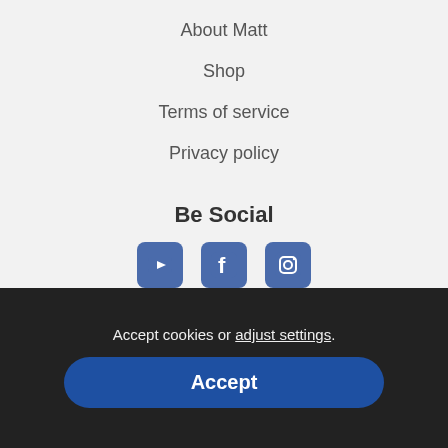About Matt
Shop
Terms of service
Privacy policy
Be Social
[Figure (other): Social media icons: YouTube, Facebook, Instagram]
Visit UK website
[Figure (illustration): UK flag (Union Jack)]
Accept cookies or adjust settings.
Accept